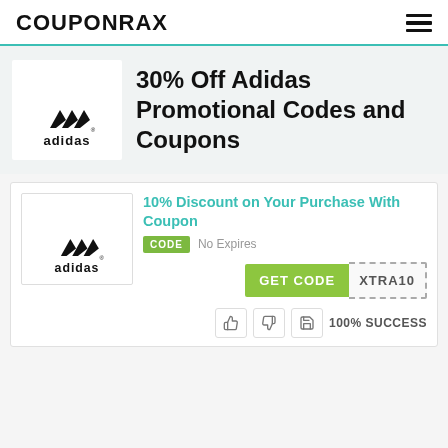COUPONRAX
[Figure (logo): Adidas logo (three stripes mountain mark with adidas wordmark) in hero section]
30% Off Adidas Promotional Codes and Coupons
[Figure (logo): Adidas logo (three stripes mountain mark with adidas wordmark) in coupon card]
10% Discount on Your Purchase With Coupon
CODE   No Expires
GET CODE  XTRA10
100% SUCCESS